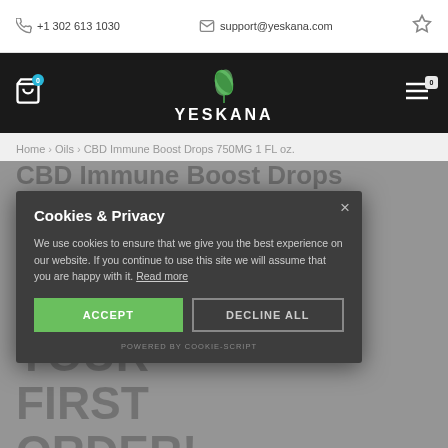+1 302 613 1030 | support@yeskana.com
[Figure (logo): Yeskana logo with green leaf icon and white text on dark background]
Home › Oils › CBD Immune Boost Drops 750MG 1 FL oz.
CBD Immune Boost Drops 750MG 1 FL oz.
Get 20%
YOUR FIRST ORDER!
Cookies & Privacy

We use cookies to ensure that we give you the best experience on our website. If you continue to use this site we will assume that you are happy with it. Read more

ACCEPT   DECLINE ALL

POWERED BY COOKIE-SCRIPT